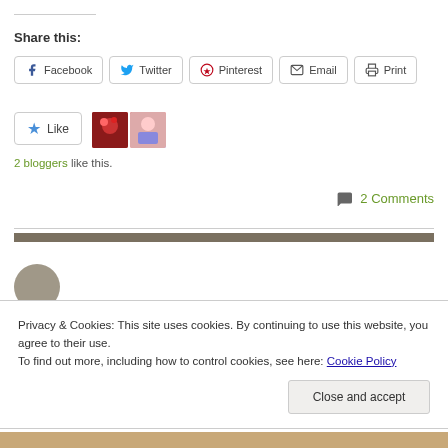Share this:
Facebook  Twitter  Pinterest  Email  Print
Like  [blogger thumbnails]
2 bloggers like this.
2 Comments
Privacy & Cookies: This site uses cookies. By continuing to use this website, you agree to their use.
To find out more, including how to control cookies, see here: Cookie Policy
Close and accept